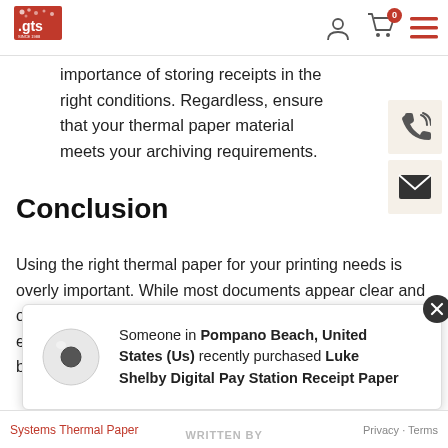GTS logo | user icon | cart icon (0) | menu icon
importance of storing receipts in the right conditions. Regardless, ensure that your thermal paper material meets your archiving requirements.
Conclusion
Using the right thermal paper for your printing needs is overly important. While most documents appear clear and of good quality from the printer, they may not withstand the expected lifespan. Unreadable receipts can predispose businesses to
Someone in Pompano Beach, United States (Us) recently purchased Luke Shelby Digital Pay Station Receipt Paper
Systems Thermal Paper   WRITTEN BY   Privacy · Terms